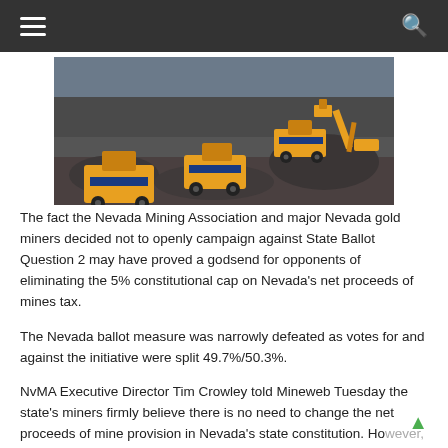≡  [navigation]  Q
[Figure (photo): Aerial view of an open-pit mine with large yellow dump trucks and an excavator moving dirt and rock on a dark grey mining site.]
The fact the Nevada Mining Association and major Nevada gold miners decided not to openly campaign against State Ballot Question 2 may have proved a godsend for opponents of eliminating the 5% constitutional cap on Nevada's net proceeds of mines tax.
The Nevada ballot measure was narrowly defeated as votes for and against the initiative were split 49.7%/50.3%.
NvMA Executive Director Tim Crowley told Mineweb Tuesday the state's miners firmly believe there is no need to change the net proceeds of mine provision in Nevada's state constitution. However, Nevada miners were unwilling "to spend a lot of resources" fighting